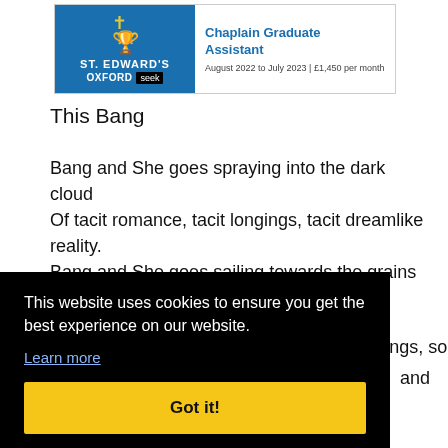[Figure (infographic): St. Edward's Oxford advertisement banner for Chaplain Graduate Assistant position, August 2022 to July 2023, £1,450 per month]
This Bang
Bang and She goes spraying into the dark cloud
Of tacit romance, tacit longings, tacit dreamlike reality.
Bang and She goes sailing towards the grains of black pitch
Devoid of safeguards and cushioning.
Bang and She screams, falters and then sings, soars at her
[Figure (screenshot): Cookie consent overlay: 'This website uses cookies to ensure you get the best experience on our website. Learn more' with a 'Got it!' button]
and
Is our fire